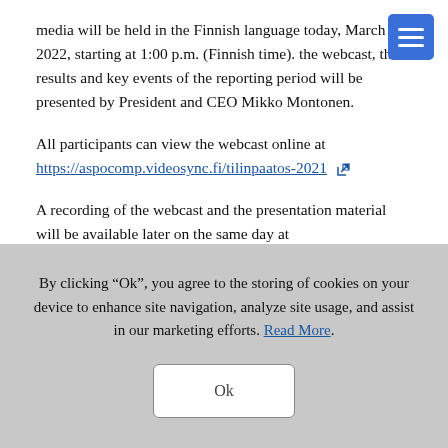media will be held in the Finnish language today, March 10, 2022, starting at 1:00 p.m. (Finnish time). the webcast, the results and key events of the reporting period will be presented by President and CEO Mikko Montonen.
All participants can view the webcast online at https://aspocomp.videosync.fi/tilinpaatos-2021
A recording of the webcast and the presentation material will be available later on the same day at www.aspocomp.com/investors.
By clicking “Ok”, you agree to the storing of cookies on your device to enhance site navigation, analyze site usage, and assist in our marketing efforts. Read More.